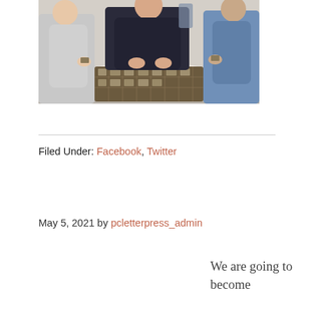[Figure (photo): Three people standing around a table examining items from a letterpress type case tray. Person on left wearing light grey hoodie, person in middle wearing dark jacket, person on right wearing light blue denim jacket.]
Filed Under: Facebook, Twitter
May 5, 2021 by pcletterpress_admin
We are going to become